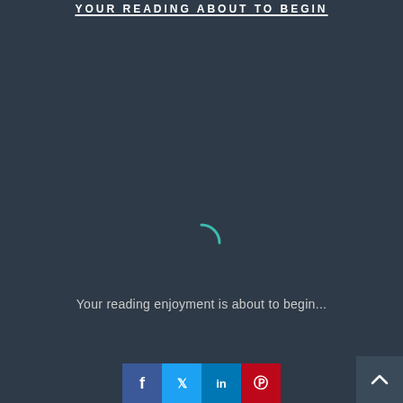YOUR READING ABOUT TO BEGIN
[Figure (other): A teal/cyan arc spinner loading indicator on a dark blue-grey background]
Your reading enjoyment is about to begin...
[Figure (other): Social sharing buttons: Facebook (f), Twitter (bird), LinkedIn (in), Pinterest (P) icons in their brand colors]
[Figure (other): Back to top button with upward arrow chevron in dark grey square at bottom right]